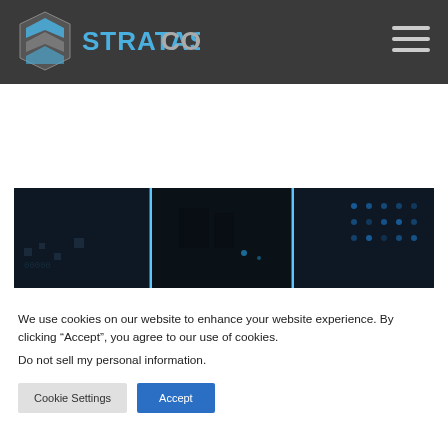STRATASCORP
[Figure (photo): Dark technology background image showing circuit board elements with blue glowing lines, divided into three panels side by side]
We use cookies on our website to enhance your website experience. By clicking “Accept”, you agree to our use of cookies.
Do not sell my personal information.